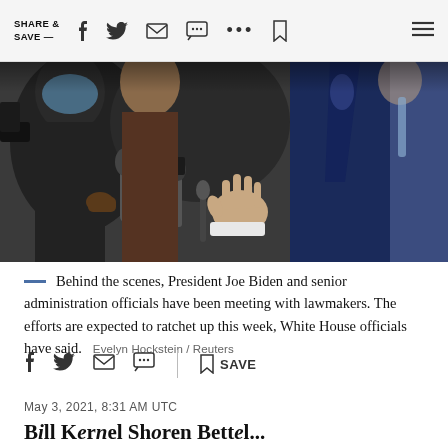SHARE & SAVE —
[Figure (photo): Man in dark blue suit gesturing with his hand while speaking to reporters holding microphones, crowd of press with cameras and masked faces in the background]
Behind the scenes, President Joe Biden and senior administration officials have been meeting with lawmakers. The efforts are expected to ratchet up this week, White House officials have said.    Evelyn Hockstein / Reuters
May 3, 2021, 8:31 AM UTC